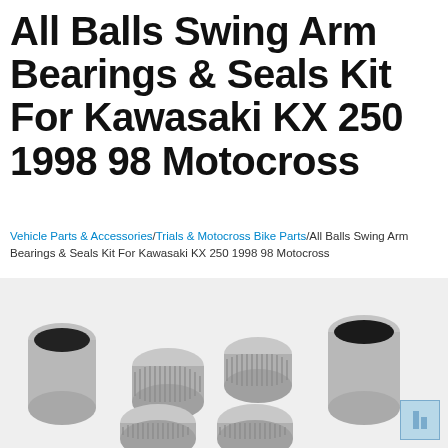All Balls Swing Arm Bearings & Seals Kit For Kawasaki KX 250 1998 98 Motocross
Vehicle Parts & Accessories / Trials & Motocross Bike Parts / All Balls Swing Arm Bearings & Seals Kit For Kawasaki KX 250 1998 98 Motocross
[Figure (photo): Product photo showing All Balls Swing Arm Bearings & Seals Kit components: two cylindrical sleeves (bushings), four needle roller bearings, and two seal rings arranged on a light gray background.]